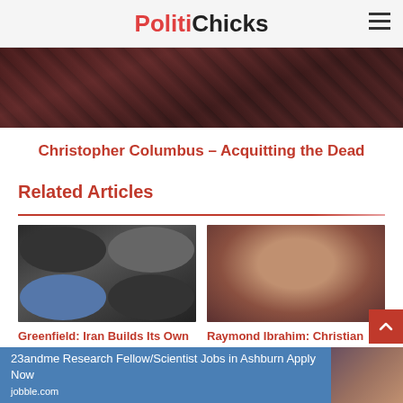PolitiChicks
[Figure (photo): Dark textured hero image, partial view of a person or animal, dark reddish-brown tones]
Christopher Columbus – Acquitting the Dead
Related Articles
[Figure (photo): Social media profile screenshots showing Hadi Matar, collage of multiple images with dark backgrounds]
Greenfield: Iran Builds Its Own Online ISIS in America
[Figure (photo): Man with beard wearing maroon shirt, seated indoors with a blue-bordered frame]
Raymond Ibrahim: Christian Heroes Who
23andme Research Fellow/Scientist Jobs in Ashburn Apply Now jobble.com